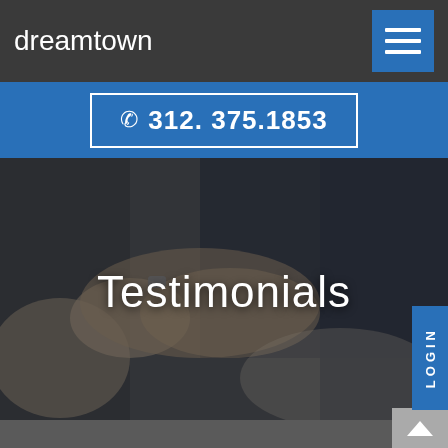dreamtown — navigation header with logo and menu button
☎ 312. 375.1853
[Figure (photo): Two people in business attire shaking hands, semi-transparent dark overlay]
Testimonials
LOGIN